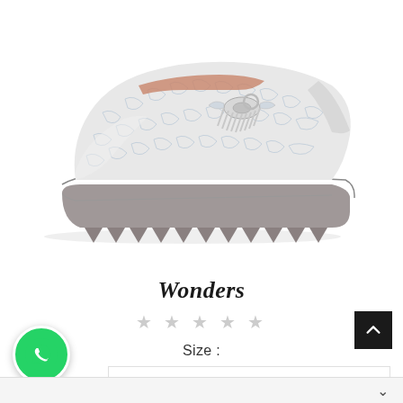[Figure (photo): Side view of a white crackle-texture leather wedge loafer with grey chunky sole and bow/buckle detail on the vamp]
Wonders
★ ★ ★ ★ ★
Size :
[Figure (logo): WhatsApp green circle button icon in bottom left corner]
[Figure (other): Black scroll-up button with white chevron arrow in right side]
▾